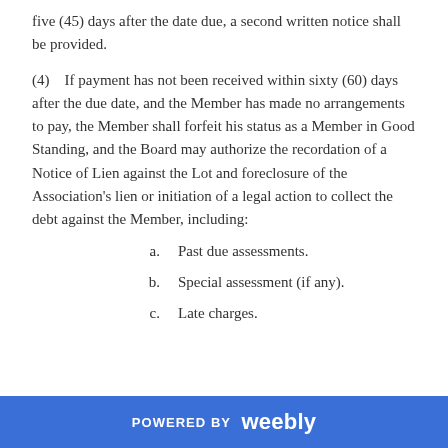five (45) days after the date due, a second written notice shall be provided.
(4)    If payment has not been received within sixty (60) days after the due date, and the Member has made no arrangements to pay, the Member shall forfeit his status as a Member in Good Standing, and the Board may authorize the recordation of a Notice of Lien against the Lot and foreclosure of the Association's lien or initiation of a legal action to collect the debt against the Member, including:
a.    Past due assessments.
b.    Special assessment (if any).
c.    Late charges.
POWERED BY weebly